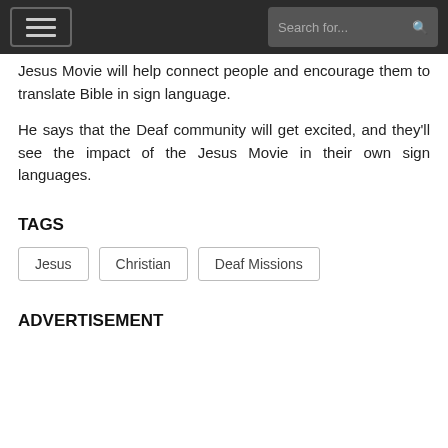Search for...
Jesus Movie will help connect people and encourage them to translate Bible in sign language.
He says that the Deaf community will get excited, and they'll see the impact of the Jesus Movie in their own sign languages.
TAGS
Jesus
Christian
Deaf Missions
ADVERTISEMENT